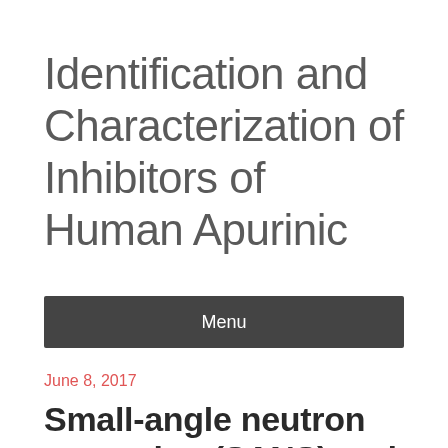Identification and Characterization of Inhibitors of Human Apurinic
Menu
June 8, 2017
Small-angle neutron scattering (SANS) and